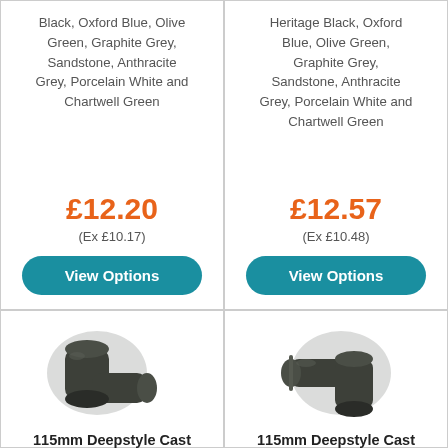Black, Oxford Blue, Olive Green, Graphite Grey, Sandstone, Anthracite Grey, Porcelain White and Chartwell Green
£12.20
(Ex £10.17)
View Options
Heritage Black, Oxford Blue, Olive Green, Graphite Grey, Sandstone, Anthracite Grey, Porcelain White and Chartwell Green
£12.57
(Ex £10.48)
View Options
[Figure (photo): Dark grey/black 115mm deepstyle cast iron style gutter angle/elbow fitting, left-facing]
115mm Deepstyle Cast
[Figure (photo): Dark grey/black 115mm deepstyle cast iron style gutter angle/elbow fitting, right-facing]
115mm Deepstyle Cast